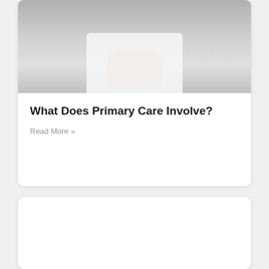[Figure (photo): Grayscale photo of a person wearing a white lab coat, hands visible buttoning the coat, with bracelets and a watch visible on the wrists]
What Does Primary Care Involve?
Read More »
[Figure (photo): Second card with mostly blank/white image area, partially visible at the bottom of the page]